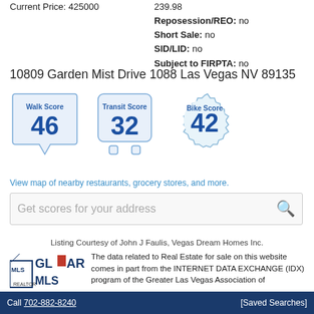Current Price: 425000
239.98
Reposession/REO: no
Short Sale: no
SID/LID: no
Subject to FIRPTA: no
10809 Garden Mist Drive 1088 Las Vegas NV 89135
[Figure (infographic): Walk Score 46 badge (speech-bubble shape), Transit Score 32 badge (bus shape), Bike Score 42 badge (gear/cogwheel shape) - three score badges in blue tones]
View map of nearby restaurants, grocery stores, and more.
Get scores for your address
Listing Courtesy of John J Faulis, Vegas Dream Homes Inc.
The data related to Real Estate for sale on this website comes in part from the INTERNET DATA EXCHANGE (IDX) program of the Greater Las Vegas Association of
Call 702-882-8240    [Saved Searches]